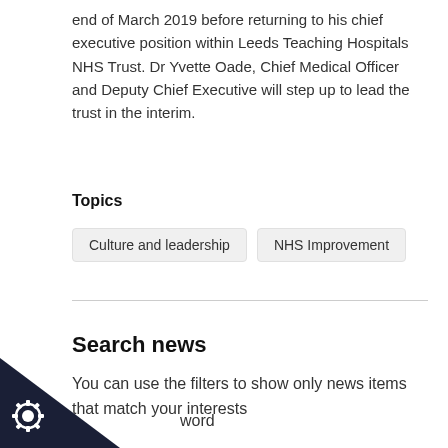end of March 2019 before returning to his chief executive position within Leeds Teaching Hospitals NHS Trust. Dr Yvette Oade, Chief Medical Officer and Deputy Chief Executive will step up to lead the trust in the interim.
Topics
Culture and leadership
NHS Improvement
Search news
You can use the filters to show only news items that match your interests
word